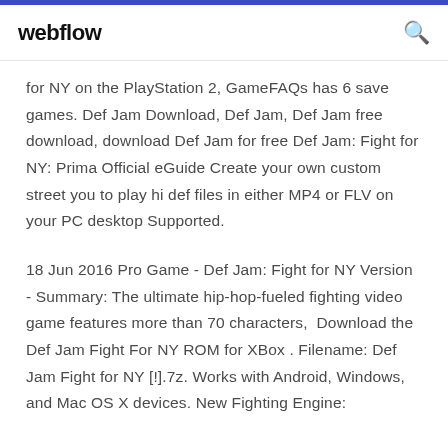webflow
for NY on the PlayStation 2, GameFAQs has 6 save games. Def Jam Download, Def Jam, Def Jam free download, download Def Jam for free Def Jam: Fight for NY: Prima Official eGuide Create your own custom street you to play hi def files in either MP4 or FLV on your PC desktop Supported.
18 Jun 2016 Pro Game - Def Jam: Fight for NY Version - Summary: The ultimate hip-hop-fueled fighting video game features more than 70 characters,  Download the Def Jam Fight For NY ROM for XBox . Filename: Def Jam Fight for NY [!].7z. Works with Android, Windows, and Mac OS X devices. New Fighting Engine: